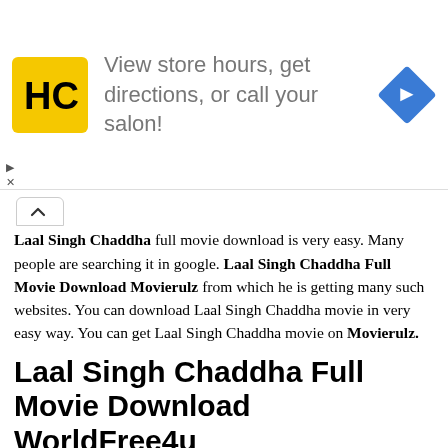[Figure (infographic): Advertisement banner with HC (Hair Club) yellow logo, text 'View store hours, get directions, or call your salon!' and a blue diamond-shaped direction arrow icon]
Laal Singh Chaddha full movie download is very easy. Many people are searching it in google. Laal Singh Chaddha Full Movie Download Movierulz from which he is getting many such websites. You can download Laal Singh Chaddha movie in very easy way. You can get Laal Singh Chaddha movie on Movierulz.
Laal Singh Chaddha Full Movie Download WorldFree4u
Laal Singh Chaddha full movie download is very easy. Many people are searching it in google. Laal Singh Chaddha Full Movie Download WorldFree4u from